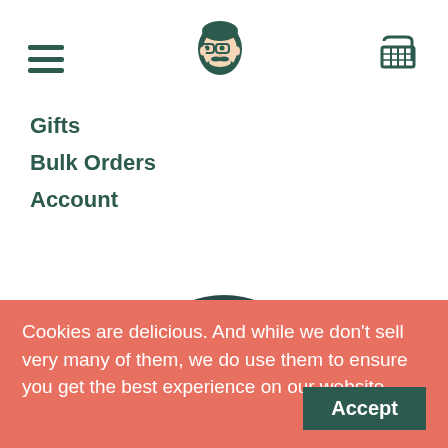[Figure (logo): Hamburger menu icon (three horizontal lines) in dark teal]
[Figure (logo): Illustrated bearded man face logo in dark teal]
[Figure (logo): Shopping basket/cart icon in dark teal]
Gifts
Bulk Orders
Account
[Figure (infographic): Judge.me verified reviews badge showing 22 reviews with 5 yellow stars and teal/gold ribbon design]
Cookies are delicious. And while we don't sell very many of them, we do use them to ensure you get the best experience on our website.